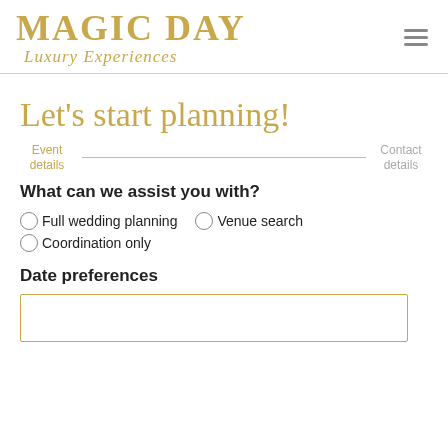MAGIC DAY Luxury Experiences
Let's start planning!
Event details   Contact details
What can we assist you with?
Full wedding planning
Venue search
Coordination only
Date preferences